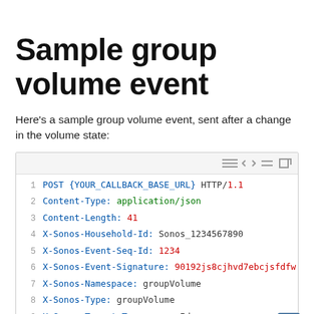Sample group volume event
Here's a sample group volume event, sent after a change in the volume state:
[Figure (screenshot): Code block showing an HTTP POST request for a group volume event with headers including Content-Type, Content-Length, X-Sonos-Household-Id, X-Sonos-Event-Seq-Id, X-Sonos-Event-Signature, X-Sonos-Namespace, X-Sonos-Type, X-Sonos-Target-Type, X-Sonos-Target-Value, and a JSON body line with volume, muted, and fixed fields.]